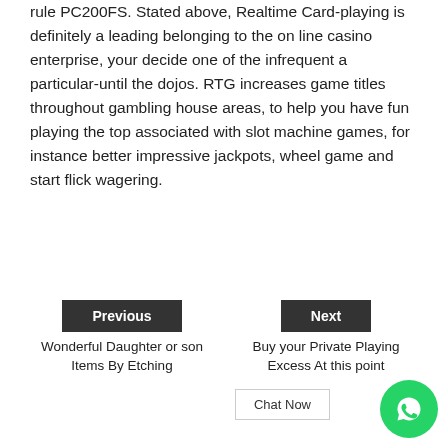rule PC200FS. Stated above, Realtime Card-playing is definitely a leading belonging to the on line casino enterprise, your decide one of the infrequent a particular-until the dojos. RTG increases game titles throughout gambling house areas, to help you have fun playing the top associated with slot machine games, for instance better impressive jackpots, wheel game and start flick wagering.
Previous
Wonderful Daughter or son Items By Etching
Next
Buy your Private Playing Excess At this point
Chat Now